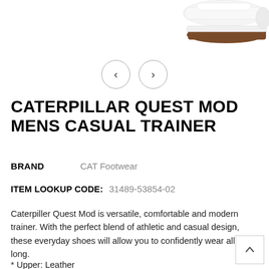[Figure (photo): Partial view of a Caterpillar Quest Mod trainer shoe (brown and white) visible at top right of page]
[Figure (other): Navigation carousel arrows: left arrow circle and right arrow circle]
CATERPILLAR QUEST MOD MENS CASUAL TRAINER
BRAND    CAT Footwear
ITEM LOOKUP CODE:  31489-53854-02
Caterpiller Quest Mod is versatile, comfortable and modern trainer. With the perfect blend of athletic and casual design, these everyday shoes will allow you to confidently wear all day long.
* Upper: Leather
* Lining: Other materials
* Sole: Other materials
* Soft, fabric sock lining with NXT antibacterial layer
* Durable rubber outsole for traction